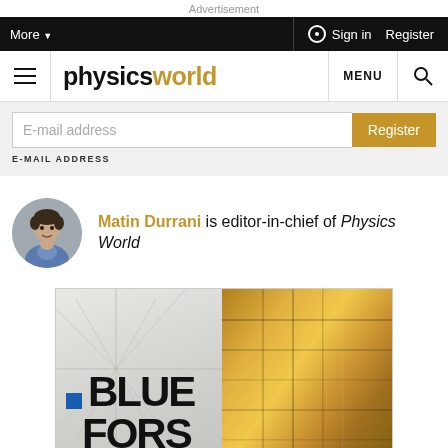Advertisement
More | Sign in | Register
[Figure (logo): Physics World logo with hamburger menu, MENU button, and search icon]
E-mail address  Register  E-MAIL ADDRESS
Matin Durrani is editor-in-chief of Physics World
[Figure (photo): Circular portrait photo of Matin Durrani]
[Figure (advertisement): Blue Fors advertisement banner with quantum computing hardware (gold cylindrical device) and geometric line pattern on left, text reading BLUE FORS]